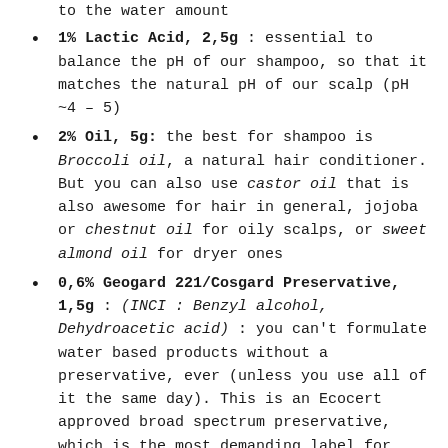to the water amount
1% Lactic Acid, 2,5g : essential to balance the pH of our shampoo, so that it matches the natural pH of our scalp (pH ~4 – 5)
2% Oil, 5g: the best for shampoo is Broccoli oil, a natural hair conditioner. But you can also use castor oil that is also awesome for hair in general, jojoba or chestnut oil for oily scalps, or sweet almond oil for dryer ones
0,6% Geogard 221/Cosgard Preservative, 1,5g : (INCI : Benzyl alcohol, Dehydroacetic acid) : you can't formulate water based products without a preservative, ever (unless you use all of it the same day). This is an Ecocert approved broad spectrum preservative, which is the most demanding label for organic and natural